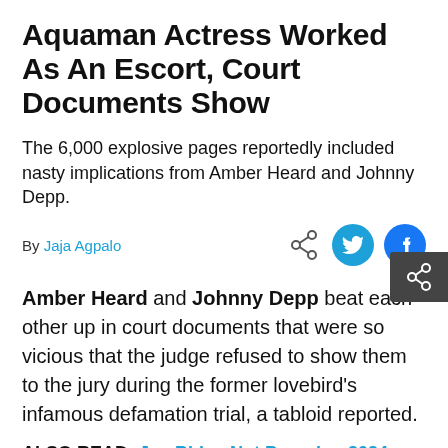Aquaman Actress Worked As An Escort, Court Documents Show
The 6,000 explosive pages reportedly included nasty implications from Amber Heard and Johnny Depp.
By Jaja Agpalo
[Figure (infographic): Social sharing icons: share, Twitter, Facebook]
Amber Heard and Johnny Depp beat each other up in court documents that were so vicious that the judge refused to show them to the jury during the former lovebird's infamous defamation trial, a tabloid reported.
ALSO READ: Joe Biden Not Pursuing 2024